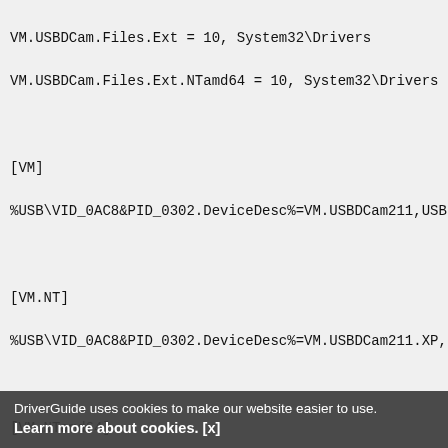VM.USBDCam.Files.Ext = 10, System32\Drivers
VM.USBDCam.Files.Ext.NTamd64 = 10, System32\Drivers

[VM]
%USB\VID_0AC8&PID_0302.DeviceDesc%=VM.USBDCam211,USB

[VM.NT]
%USB\VID_0AC8&PID_0302.DeviceDesc%=VM.USBDCam211.XP,

[VM.NTamd64]
%USB\VID_0AC8&PID_0302.DeviceDesc%=VM.USBDCam211.NTa

;*******************************************
;

[VM.USBDCam211]
Include=ks.inf, kscaptur.inf, ksfilter.inf
Needs=KS.Registration,KSCAPTUR.Registration
SubClass=StillImage
DeviceType=2
DeviceSubType=0x0302
Capabilities=1
Events=VM.Sti.Events
DeviceData=VM.S...
ICMProfiles="sRGB Color Space Profile.icm"
AddReg=VM.USBDCam.AddReg, VM.CustomPro.AddReg, VM.S
DriverGuide uses cookies to make our website easier to use.
Learn more about cookies. [x]